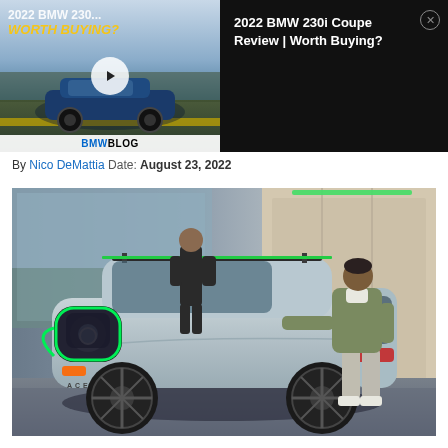[Figure (screenshot): BMW 230i video thumbnail with play button overlay. Shows blue BMW coupe with text '2022 BMW 230... WORTH BUYING?' and BMWBLOG branding at bottom.]
2022 BMW 230i Coupe Review | Worth Buying?
By Nico DeMattia Date: August 23, 2022
[Figure (photo): Two men posing with a silver/light blue MINI Aceman concept car with green LED trim accents, in an indoor showroom setting. One man stands at the rear of the car, the other stands at the front right side. The car has distinctive rounded headlights with green outlines and large black wheels.]